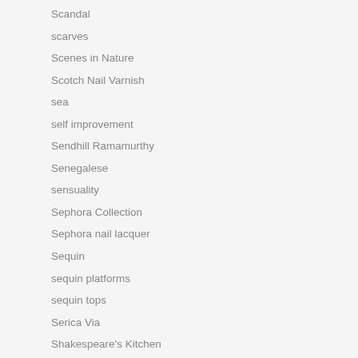Scandal
scarves
Scenes in Nature
Scotch Nail Varnish
sea
self improvement
Sendhill Ramamurthy
Senegalese
sensuality
Sephora Collection
Sephora nail lacquer
Sequin
sequin platforms
sequin tops
Serica Via
Shakespeare's Kitchen